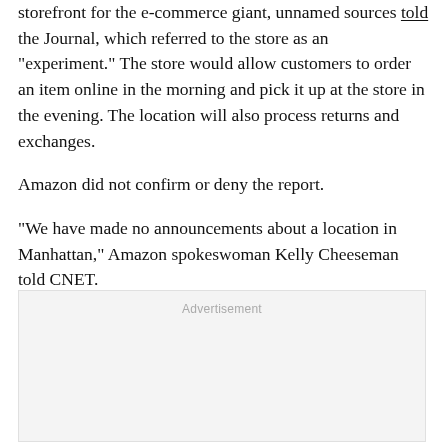storefront for the e-commerce giant, unnamed sources told the Journal, which referred to the store as an "experiment." The store would allow customers to order an item online in the morning and pick it up at the store in the evening. The location will also process returns and exchanges.
Amazon did not confirm or deny the report.
"We have made no announcements about a location in Manhattan," Amazon spokeswoman Kelly Cheeseman told CNET.
[Figure (other): Advertisement placeholder box with 'Advertisement' label at top]